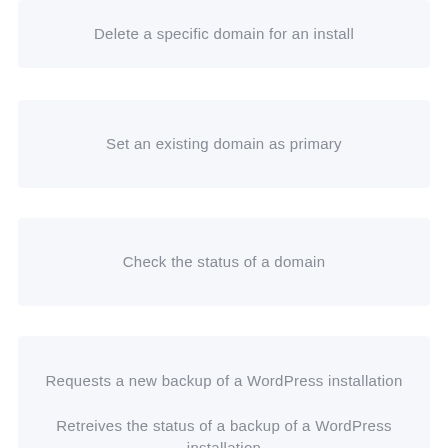Delete a specific domain for an install
Set an existing domain as primary
Check the status of a domain
Requests a new backup of a WordPress installation
Retreives the status of a backup of a WordPress installation